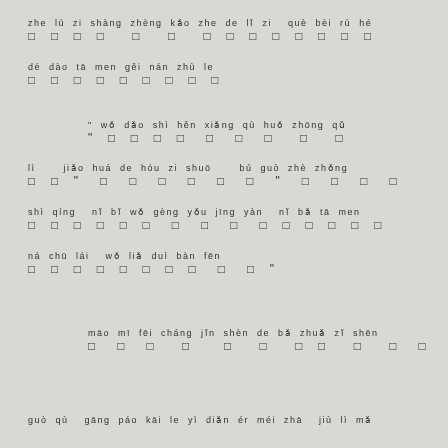zhe lú zi shàng zhèng kǎo zhe de lǐ zi   què bèi rú hé
□ □ □ □   □   □   □ □ □ □ □ □ □ □
dé dào tā men gěi nán zhù le
□ □ □ □ □ □ □ □ □
" wǒ dǎo shì hěn xiǎng qù huǒ zhōng qǔ
"  □ □ □ □ □ □ □ □ □ □
lì      jiǎo huá de hóu zi shuō      bú guò zhè zhǒng
□ □ "  □ □ □ □ □ □ □ □ "  □ □ □ □
shì qíng   nǐ bǐ wǒ gèng yǒu jīng yàn   nǐ bǎ tā men
□ □ □ □ □ □ □ □ □ □ □ □ □ □ □ □
ná chū lái   wǒ liǎ duì bàn fēn
□ □ □ □ □ □ □ □ □ □ □ "
māo mī fēi cháng jǐn shèn de bǎ zhuǎ zǐ shēn
□ □ □ □ □ □ □ □ □ □ □ □
guò qù   gāng páo kāi le yì diǎn ér méi zhā   jiù lì mǎ